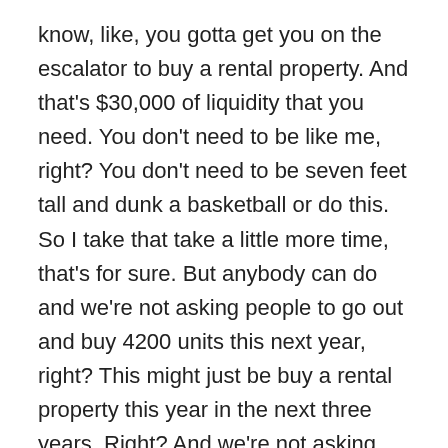know, like, you gotta get you on the escalator to buy a rental property. And that's $30,000 of liquidity that you need. You don't need to be like me, right? You don't need to be seven feet tall and dunk a basketball or do this. So I take that take a little more time, that's for sure. But anybody can do and we're not asking people to go out and buy 4200 units this next year, right? This might just be buy a rental property this year in the next three years. Right? And we're not asking you to withdraw all your retirement funds. It's get let's get proof of concept. Right? And I think that's when I look into the eyes of people and they'll never tell me what the real reason is. Because we're adults, and we always have layers for onion and we never reveal what's the true meaning. It's, I try and like create the goal like very attainable and kind of keep it moderate. But at the end of the day, it's people just are unable to get out of their comfort zones. Right. But if I can kind of lower that barrier to know what you're trying to